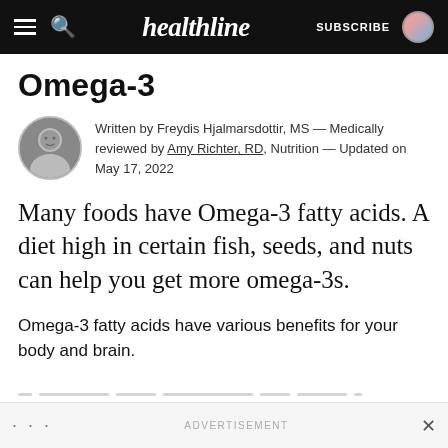healthline — SUBSCRIBE
Omega-3
Written by Freydis Hjalmarsdottir, MS — Medically reviewed by Amy Richter, RD, Nutrition — Updated on May 17, 2022
Many foods have Omega-3 fatty acids. A diet high in certain fish, seeds, and nuts can help you get more omega-3s.
Omega-3 fatty acids have various benefits for your body and brain.